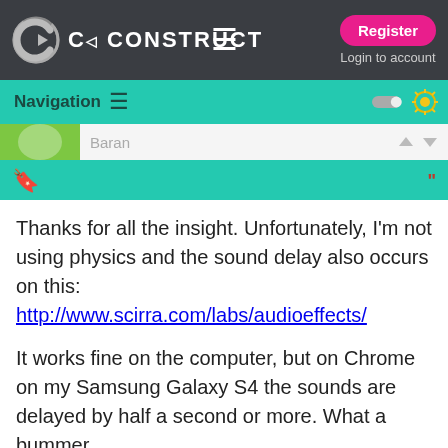CONSTRUCT — Register / Login to account
Navigation
Thanks for all the insight. Unfortunately, I'm not using physics and the sound delay also occurs on this: http://www.scirra.com/labs/audioeffects/

It works fine on the computer, but on Chrome on my Samsung Galaxy S4 the sounds are delayed by half a second or more. What a bummer.
STARTECHSTUDIOS
Maybe submit a bug report to Ashley, that seems to